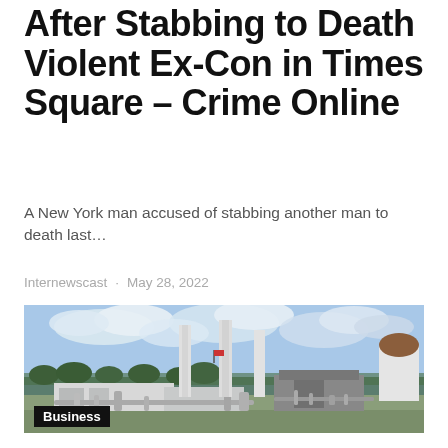After Stabbing to Death Violent Ex-Con in Times Square – Crime Online
A New York man accused of stabbing another man to death last…
Internewscast · May 28, 2022
[Figure (photo): Industrial facility with tall white smokestacks and pipes against a partly cloudy sky, with trees in the background and a brown dome structure on the right.]
Business